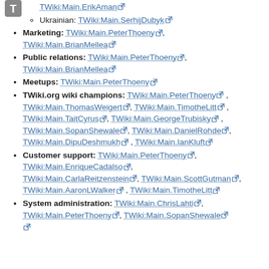TWiki:Main.ErikAman
Ukrainian: TWiki:Main.SerhijDubyk
Marketing: TWiki:Main.PeterThoeny, TWiki:Main.BrianMellea
Public relations: TWiki:Main.PeterThoeny, TWiki:Main.BrianMellea
Meetups: TWiki:Main.PeterThoeny
TWiki.org wiki champions: TWiki:Main.PeterThoeny, TWiki:Main.ThomasWeigert, TWiki:Main.TimotheLitt, TWiki:Main.TaitCyrus, TWiki:Main.GeorgeTrubisky, TWiki:Main.SopanShewale, TWiki:Main.DanielRohde, TWiki:Main.DipuDeshmukh, TWiki:Main.IanKluft
Customer support: TWiki:Main.PeterThoeny, TWiki:Main.EnriqueCadalso, TWiki:Main.CarlaReitzenstein, TWiki:Main.ScottGutman, TWiki:Main.AaronLWalker, TWiki:Main.TimotheLitt
System administration: TWiki:Main.ChrisLahti, TWiki:Main.PeterThoeny, TWiki:Main.SopanShewale